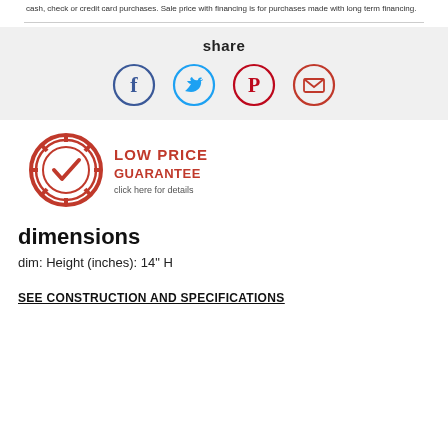cash, check or credit card purchases. Sale price with financing is for purchases made with long term financing.
[Figure (infographic): Social share section with Facebook, Twitter, Pinterest, and Email icons in circles on a gray background, with 'share' heading]
[Figure (logo): Low Price Guarantee badge - red seal with checkmark, red text 'LOW PRICE GUARANTEE', gray subtext 'click here for details']
dimensions
dim: Height (inches): 14" H
SEE CONSTRUCTION AND SPECIFICATIONS